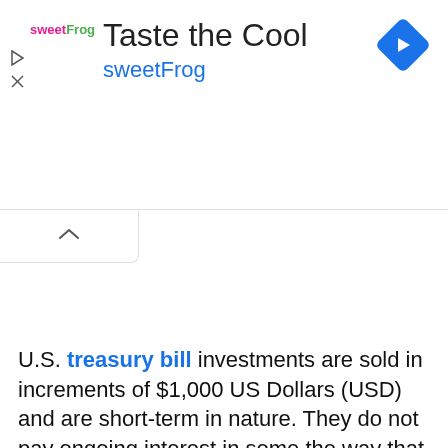[Figure (other): Advertisement banner for sweetFrog brand with text 'Taste the Cool' and 'sweetFrog', featuring the sweetFrog logo, a navigation arrow icon, and play/close icons.]
U.S. treasury bill investments are sold in increments of $1,000 US Dollars (USD) and are short-term in nature. They do not pay ongoing interest in some the way that long-term bonds